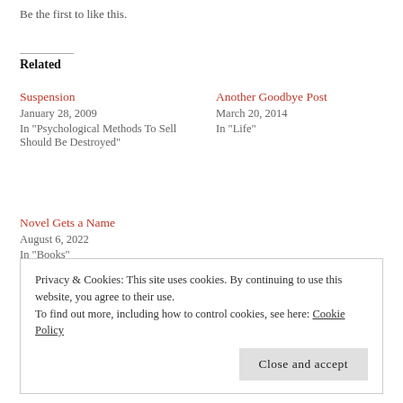Be the first to like this.
Related
Suspension
January 28, 2009
In "Psychological Methods To Sell Should Be Destroyed"
Another Goodbye Post
March 20, 2014
In "Life"
Novel Gets a Name
August 6, 2022
In "Books"
Privacy & Cookies: This site uses cookies. By continuing to use this website, you agree to their use.
To find out more, including how to control cookies, see here: Cookie Policy
Close and accept